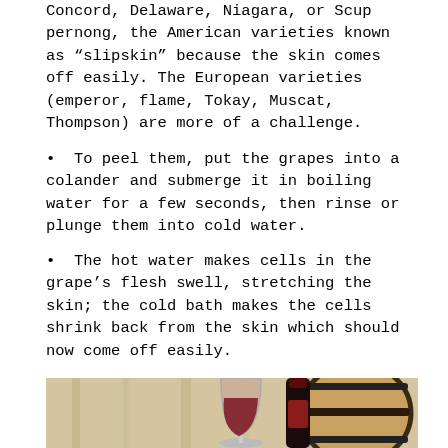Concord, Delaware, Niagara, or Scup pernong, the American varieties known as “slipskin” because the skin comes off easily. The European varieties (emperor, flame, Tokay, Muscat, Thompson) are more of a challenge.
• To peel them, put the grapes into a colander and submerge it in boiling water for a few seconds, then rinse or plunge them into cold water.
• The hot water makes cells in the grape’s flesh swell, stretching the skin; the cold bath makes the cells shrink back from the skin which should now come off easily.
[Figure (photo): Photo of a wine glass and wooden barrel on a light wooden surface, with a red wine bottle in the background.]